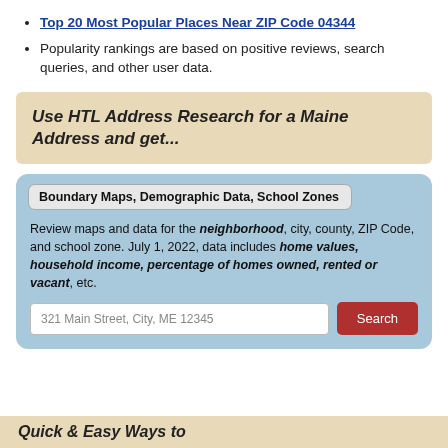Top 20 Most Popular Places Near ZIP Code 04344
Popularity rankings are based on positive reviews, search queries, and other user data.
Use HTL Address Research for a Maine Address and get...
Boundary Maps, Demographic Data, School Zones
Review maps and data for the neighborhood, city, county, ZIP Code, and school zone. July 1, 2022, data includes home values, household income, percentage of homes owned, rented or vacant, etc.
321 Main Street, City, ME 12345
Quick & Easy Ways to